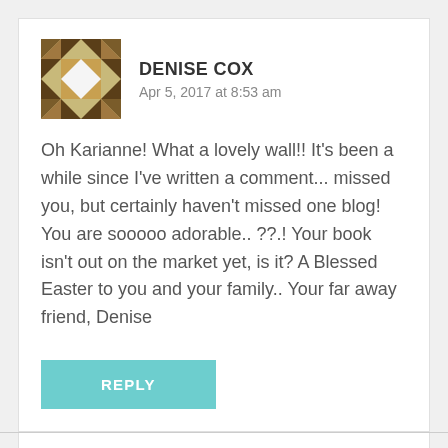DENISE COX
Apr 5, 2017 at 8:53 am
Oh Karianne! What a lovely wall!! It's been a while since I've written a comment... missed you, but certainly haven't missed one blog! You are sooooo adorable.. ??.! Your book isn't out on the market yet, is it? A Blessed Easter to you and your family.. Your far away friend, Denise
REPLY
CALLIE